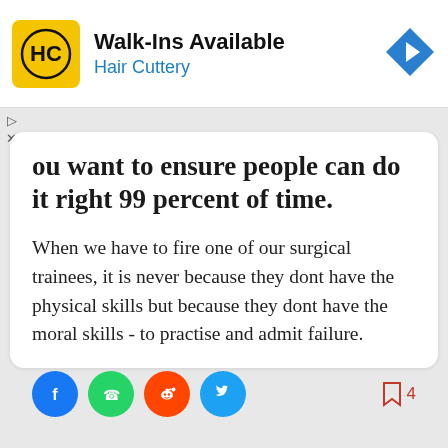[Figure (logo): Hair Cuttery advertisement banner with HC logo, Walk-Ins Available text, and navigation arrow icon]
You want to ensure people can do it right 99 percent of time.
When we have to fire one of our surgical trainees, it is never because they dont have the physical skills but because they dont have the moral skills - to practise and admit failure.
[Figure (infographic): Social share buttons: Facebook, WhatsApp, Reddit, Twitter, and bookmark icon with count 4]